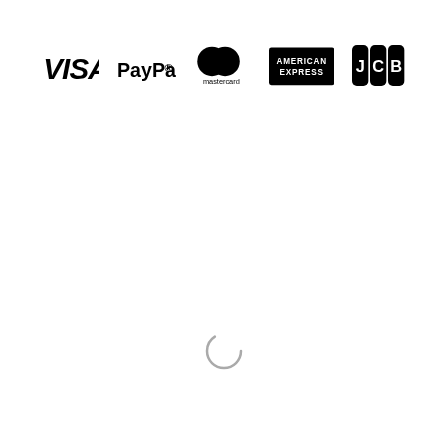[Figure (logo): Payment method logos in a row: VISA, PayPal, Mastercard, American Express, JCB]
[Figure (other): Loading spinner circle, partially rendered in gray]